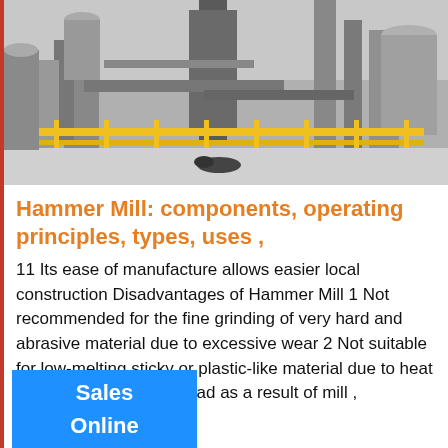[Figure (photo): Industrial facility with large machinery, pipes, silos, and yellow safety railings in a black and white photograph.]
Hammer Mill: components, operating principles, types, uses ,
11 Its ease of manufacture allows easier local construction Disadvantages of Hammer Mill 1 Not recommended for the fine grinding of very hard and abrasive material due to excessive wear 2 Not suitable for low-melting sticky or plastic-like material due to heat generation in the mill head as a result of mill ,
Sales
Online